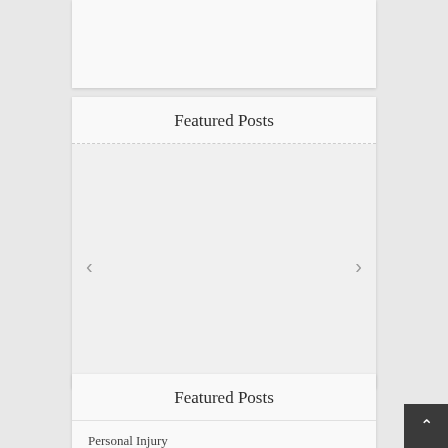[Figure (screenshot): Partial top card widget, content cut off at top of page]
Featured Posts
[Figure (screenshot): Featured posts carousel widget with left and right navigation arrows, content area empty/loading]
Featured Posts
Personal Injury
[Figure (screenshot): Back to top button with upward chevron arrow, dark background]